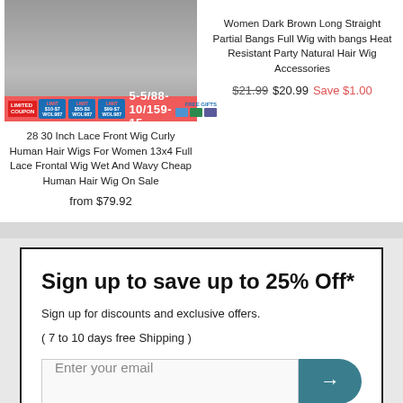[Figure (photo): Product image of wigs with promotional coupon bar showing '5-5/88-10/159-15' and 'FREE GIFTS']
28 30 Inch Lace Front Wig Curly Human Hair Wigs For Women 13x4 Full Lace Frontal Wig Wet And Wavy Cheap Human Hair Wig On Sale
from $79.92
Women Dark Brown Long Straight Partial Bangs Full Wig with bangs Heat Resistant Party Natural Hair Wig Accessories
$21.99  $20.99  Save $1.00
Sign up to save up to 25% Off*
Sign up for discounts and exclusive offers.
( 7 to 10 days free Shipping )